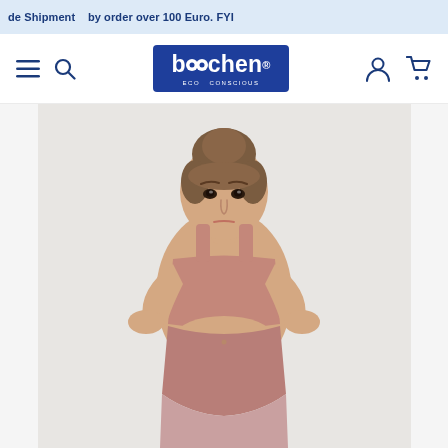de Shipment   by order over 100 Euro. FYI
[Figure (logo): boochen ECO CONSCIOUS logo, dark blue rectangle with white text]
[Figure (photo): Woman posing in mauve/dusty pink sports bra and matching high-waisted leggings, hands on hips, white background]